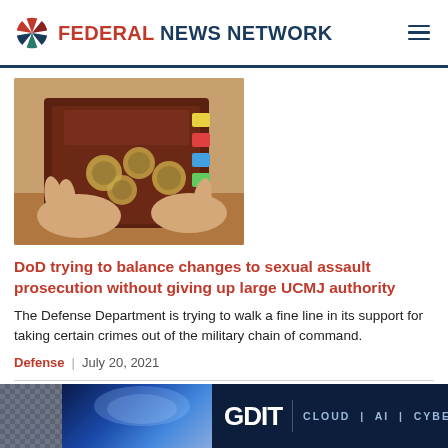Federal News Network
[Figure (photo): Person holding a book with military branch seals on the cover (Uniform Code of Military Justice), hands visible, seated at a table]
DoD trying to balance changes to sexual assault prosecution without giving up large UCMJ authority
The Defense Department is trying to walk a fine line in its support for taking certain crimes out of the military chain of command.
Defense | July 20, 2021
[Figure (screenshot): GDIT advertisement banner: CLOUD | AI | CYBER]